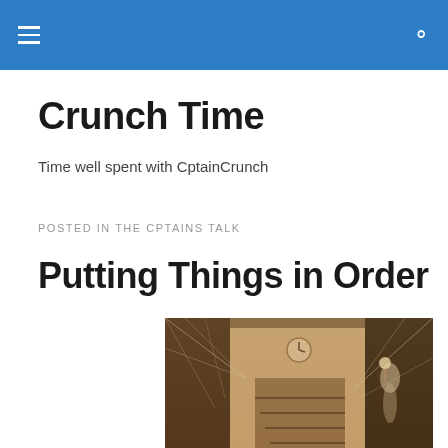Crunch Time
Time well spent with CptainCrunch
POSTED IN THE CPTAINS TALK
Putting Things in Order
[Figure (photo): Sepia-toned vintage photograph of a grand staircase interior covered in cobwebs, with a ghostly figure visible on the right side]